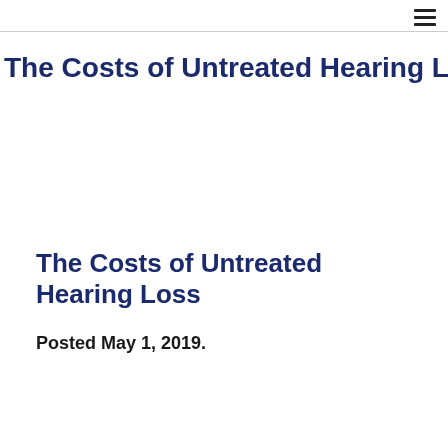The Costs of Untreated Hearing Loss
The Costs of Untreated Hearing Loss
Posted May 1, 2019.